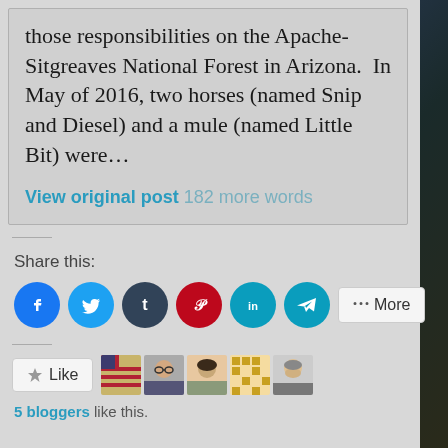those responsibilities on the Apache-Sitgreaves National Forest in Arizona.  In May of 2016, two horses (named Snip and Diesel) and a mule (named Little Bit) were…
View original post 182 more words
Share this:
[Figure (infographic): Row of social media share icon buttons: Facebook (blue), Twitter (light blue), Tumblr (dark blue), Pinterest (red), LinkedIn (teal), Telegram (teal), and a More button]
Like
[Figure (infographic): Row of five blogger avatar thumbnails next to a Like button]
5 bloggers like this.